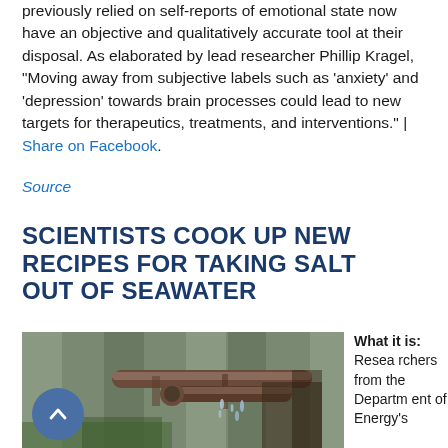previously relied on self-reports of emotional state now have an objective and qualitatively accurate tool at their disposal. As elaborated by lead researcher Phillip Kragel, "Moving away from subjective labels such as 'anxiety' and 'depression' towards brain processes could lead to new targets for therapeutics, treatments, and interventions." | Share on Facebook.
Source
SCIENTISTS COOK UP NEW RECIPES FOR TAKING SALT OUT OF SEAWATER
[Figure (photo): Close-up photograph of rusty metal water pipes with water flowing/dripping, mounted on a wooden surface]
What it is: Researchers from the Department of Energy's